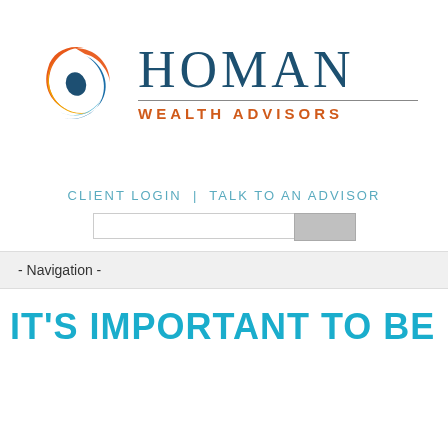[Figure (logo): Homan Wealth Advisors logo with circular swirl icon in orange, yellow, blue and dark blue, alongside text 'HOMAN' in dark teal serif font and 'WEALTH ADVISORS' in orange bold sans-serif below a horizontal divider line]
CLIENT LOGIN | TALK TO AN ADVISOR
- Navigation -
IT'S IMPORTANT TO BE